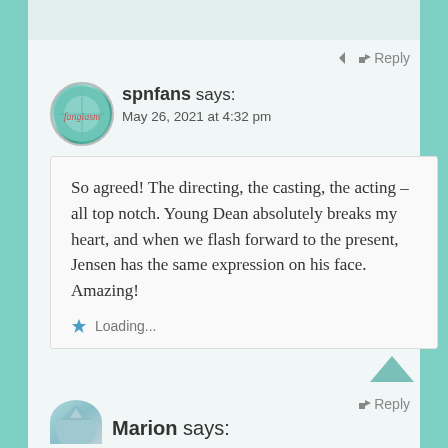↵ Reply
spnfans says:
May 26, 2021 at 4:32 pm
So agreed! The directing, the casting, the acting – all top notch. Young Dean absolutely breaks my heart, and when we flash forward to the present, Jensen has the same expression on his face. Amazing!
Loading...
↵ Reply
Marion says: